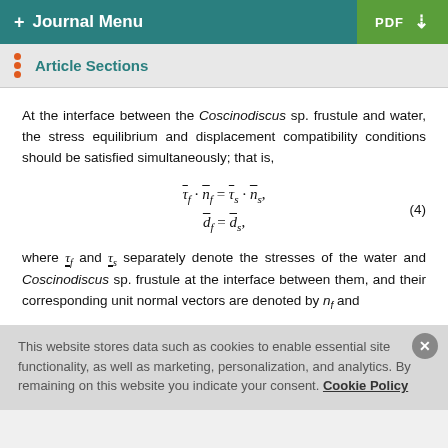+ Journal Menu | PDF
Article Sections
At the interface between the Coscinodiscus sp. frustule and water, the stress equilibrium and displacement compatibility conditions should be satisfied simultaneously; that is,
where τ_f and τ_s separately denote the stresses of the water and Coscinodiscus sp. frustule at the interface between them, and their corresponding unit normal vectors are denoted by n_f and
This website stores data such as cookies to enable essential site functionality, as well as marketing, personalization, and analytics. By remaining on this website you indicate your consent. Cookie Policy